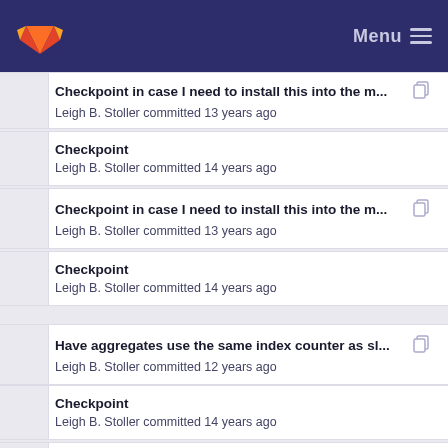GitLab Menu
Checkpoint in case I need to install this into the m... — Leigh B. Stoller committed 13 years ago
Checkpoint — Leigh B. Stoller committed 14 years ago
Checkpoint in case I need to install this into the m... — Leigh B. Stoller committed 13 years ago
Checkpoint — Leigh B. Stoller committed 14 years ago
Have aggregates use the same index counter as sl... — Leigh B. Stoller committed 12 years ago
Checkpoint — Leigh B. Stoller committed 14 years ago
More version 2 API changes. — Leigh B. Stoller committed 12 years ago
Add more URN support; mainly on the clearingho...